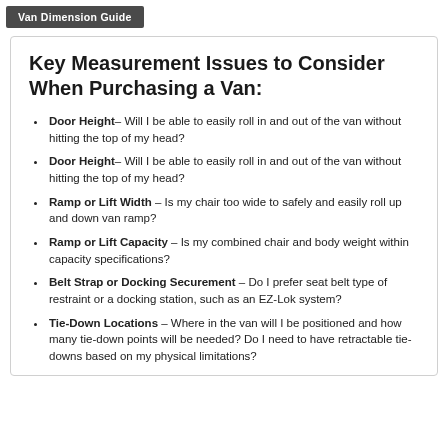Van Dimension Guide
Key Measurement Issues to Consider When Purchasing a Van:
Door Height– Will I be able to easily roll in and out of the van without hitting the top of my head?
Door Height– Will I be able to easily roll in and out of the van without hitting the top of my head?
Ramp or Lift Width – Is my chair too wide to safely and easily roll up and down van ramp?
Ramp or Lift Capacity – Is my combined chair and body weight within capacity specifications?
Belt Strap or Docking Securement – Do I prefer seat belt type of restraint or a docking station, such as an EZ-Lok system?
Tie-Down Locations – Where in the van will I be positioned and how many tie-down points will be needed? Do I need to have retractable tie-downs based on my physical limitations?